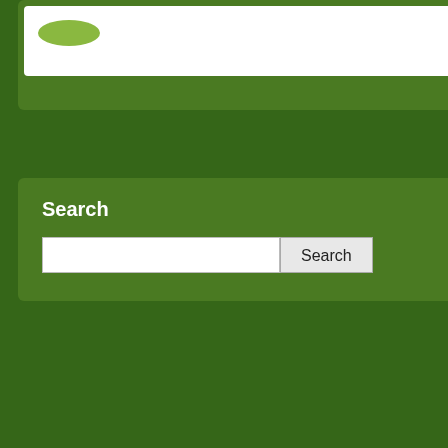[Figure (screenshot): Top partial widget with white box and green oval/logo]
Search
[Figure (screenshot): Search input box and Search button]
Become a Fan
My Other Accounts
Twitter | shak_shuka
Recent Comments
Emf Protection: You are a Great
Oct 18, 2011 8:08:00
3 Comment
LO
the boo con ma
Wo ins the Lov and